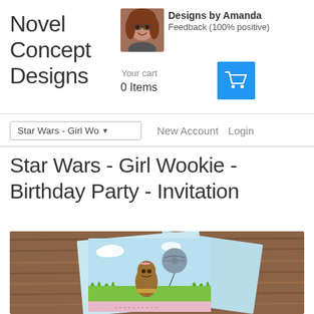Novel Concept Designs
[Figure (photo): Profile photo of Amanda, a woman with curly red hair]
Designs by Amanda
Feedback (100% positive)
Your cart
0 Items
[Figure (other): Blue shopping cart button icon]
Star Wars - Girl Wo▾   New Account   Login
Star Wars - Girl Wookie - Birthday Party - Invitation
[Figure (photo): Product photo of Star Wars Girl Wookie Birthday Party Invitation cards displayed on a wooden table background. Cards show a cute girl wookie character holding a Death Star balloon on a light blue background with green grass.]